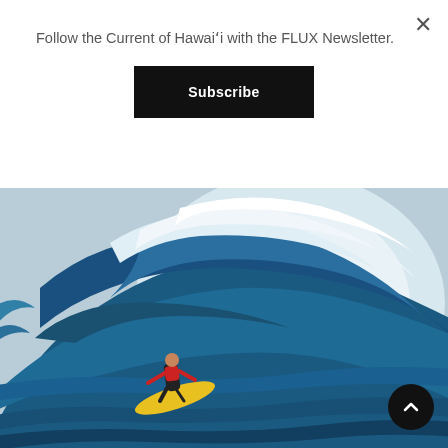Follow the Current of Hawaiʻi with the FLUX Newsletter.
Subscribe
[Figure (photo): A surfer riding inside the barrel of a large blue ocean wave on a yellow surfboard, wearing a red top and dark shorts. The wave is massive and curling overhead.]
×
⌃